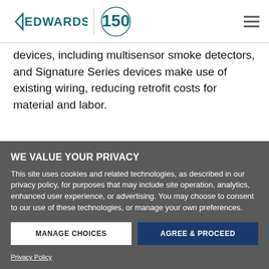Edwards | 150 years
devices, including multisensor smoke detectors, and Signature Series devices make use of existing wiring, reducing retrofit costs for material and labor.
WE VALUE YOUR PRIVACY
This site uses cookies and related technologies, as described in our privacy policy, for purposes that may include site operation, analytics, enhanced user experience, or advertising. You may choose to consent to our use of these technologies, or manage your own preferences.
MANAGE CHOICES | AGREE & PROCEED
Privacy Policy